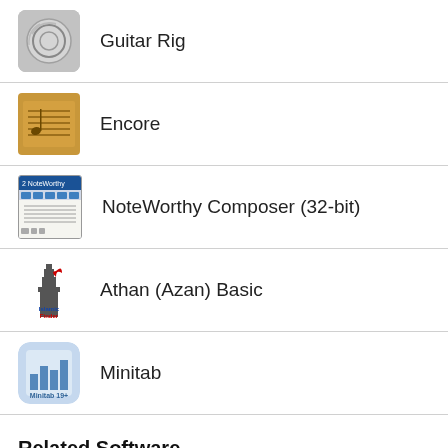Guitar Rig
Encore
NoteWorthy Composer (32-bit)
Athan (Azan) Basic
Minitab
Related Software
Junkware Removal Tool
Junkware Removal Tool (JRT) is a freeware security utility for Microsoft Windows that has been designe…